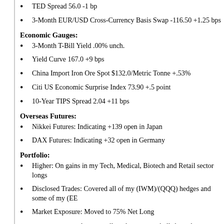TED Spread 56.0 -1 bp
3-Month EUR/USD Cross-Currency Basis Swap -116.50 +1.25 bps
Economic Gauges:
3-Month T-Bill Yield .00% unch.
Yield Curve 167.0 +9 bps
China Import Iron Ore Spot $132.0/Metric Tonne +.53%
Citi US Economic Surprise Index 73.90 +.5 point
10-Year TIPS Spread 2.04 +11 bps
Overseas Futures:
Nikkei Futures: Indicating +139 open in Japan
DAX Futures: Indicating +32 open in Germany
Portfolio:
Higher: On gains in my Tech, Medical, Biotech and Retail sector longs
Disclosed Trades: Covered all of my (IWM)/(QQQ) hedges and some of my (EE
Market Exposure: Moved to 75% Net Long
BOTTOM LINE: Today's overall market action is bullish, as the S&P 500 moves bac despite Eurozone debt angst, rising global growth fears, higher energy prices and US ta Service, Steel, Semi, Networking, Bank, I-Bank, Construction and Homebuilding share cyclical shares are outperforming. (XLF) has outperformed throughout the day. Lumbe